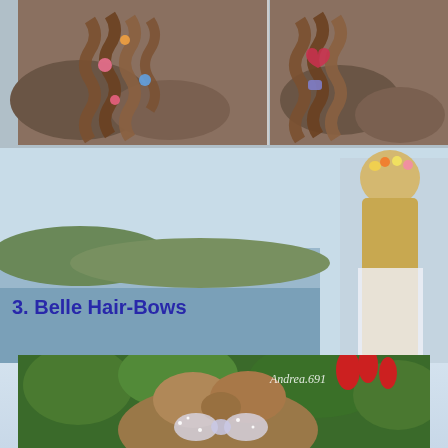[Figure (photo): Two side-by-side photos showing braided hair with colorful hair clips/accessories, viewed from behind, outdoors on rocks]
[Figure (photo): Young girl with long blonde hair and flower crown viewed from behind, standing near ocean/beach scene]
3. Belle Hair-Bows
[Figure (photo): Close-up back view of elaborate Belle-style hair bow hairstyle with rhinestone bow accessory, surrounded by tropical garden with red flowers. Watermark reads Andrea.691]